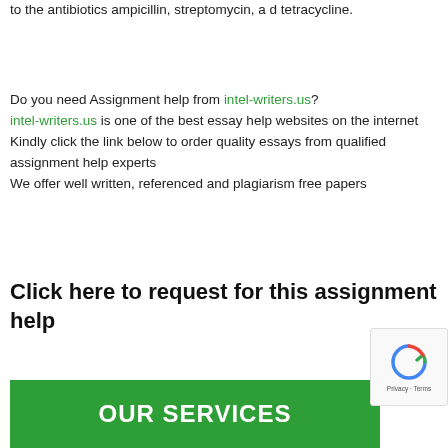to the antibiotics ampicillin, streptomycin, a d tetracycline.
Do you need Assignment help from intel-writers.us? intel-writers.us is one of the best essay help websites on the internet
Kindly click the link below to order quality essays from qualified assignment help experts
We offer well written, referenced and plagiarism free papers
Click here to request for this assignment help
OUR SERVICES